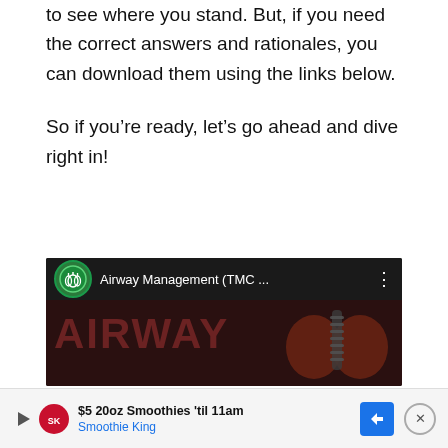to see where you stand. But, if you need the correct answers and rationales, you can download them using the links below.
So if you’re ready, let’s go ahead and dive right in!
[Figure (screenshot): YouTube video thumbnail for 'Airway Management (TMC ...' showing a dark background with the word AIRWAY in large letters and lung/trachea graphics, with a channel icon showing lungs logo]
[Figure (screenshot): Advertisement bar showing '$5 20oz Smoothies ’til 11am' from Smoothie King with logo, arrow button, and close button]